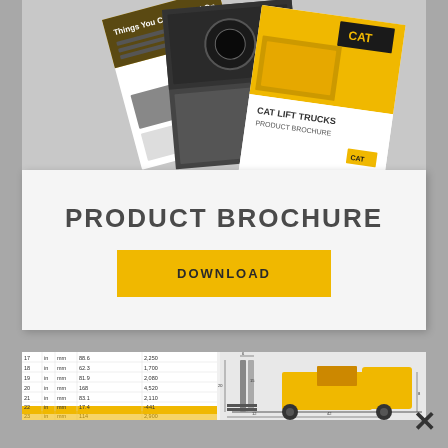[Figure (photo): CAT Lift Trucks product brochure covers shown fanned out - showing yellow and black CAT branded brochures]
PRODUCT BROCHURE
DOWNLOAD
[Figure (engineering-diagram): CAT forklift truck technical specification sheet showing dimension table on left and side-view engineering diagram of forklift on right with dimension annotations]
×